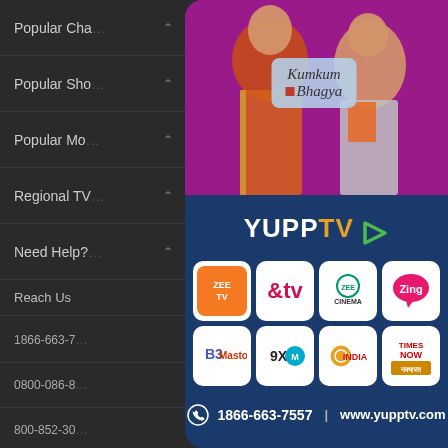Popular Cha
Popular Sho
Popular Mo
Regional TV
Need Help?
Reach Us
1866-663-7
0800-086-8
800-852-30
0800-45244
0800-189-9
0800-080-0
[Figure (illustration): YuppTV promotional banner showing Kumkum Bhagya TV show with two actors on magenta background, YuppTV logo, channel logos (Zee TV, &TV, Zee Cinema, Zing, Masto, 9XM, India TV, Times Now Navbharat), and contact info 1866-663-7557 | www.yupptv.com]